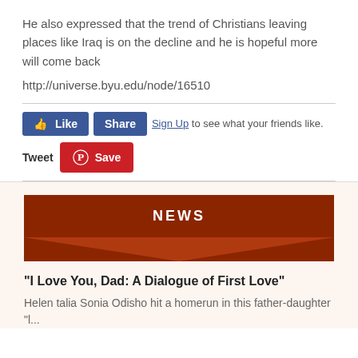He also expressed that the trend of Christians leaving places like Iraq is on the decline and he is hopeful more will come back
http://universe.byu.edu/node/16510
[Figure (screenshot): Social sharing buttons: Facebook Like button, Facebook Share button, 'Sign Up to see what your friends like.' text, Tweet text link, and Pinterest Save button]
[Figure (infographic): NEWS banner with brown/dark red background and downward-pointing arrow/chevron shape below it]
"I Love You, Dad: A Dialogue of First Love"
Helen talia Sonia Odisho hit a homerun in this father-daughter "l...